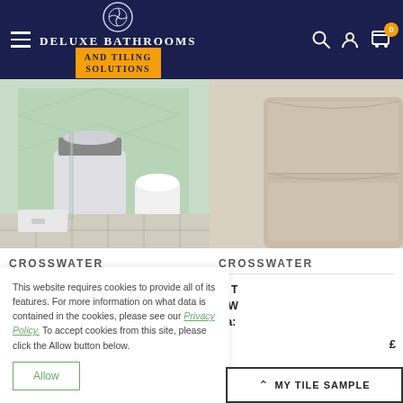[Figure (screenshot): Website header for Deluxe Bathrooms and Tiling Solutions with dark navy background, hamburger menu, logo with circular icon, orange banner, search, account, and cart icons]
[Figure (photo): Bathroom showroom photo showing a modern bathroom with green patterned tiles, wall-hung toilet, vanity unit with basin, and shower area]
[Figure (photo): Partial view of a beige/taupe vanity unit against white background]
CROSSWATER
CROSSWATER
This website requires cookies to provide all of its features. For more information on what data is contained in the cookies, please see our Privacy Policy. To accept cookies from this site, please click the Allow button below.
Allow
MY TILE SAMPLE